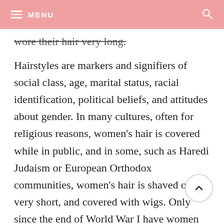MENU
wore their hair very long.
Hairstyles are markers and signifiers of social class, age, marital status, racial identification, political beliefs, and attitudes about gender. In many cultures, often for religious reasons, women's hair is covered while in public, and in some, such as Haredi Judaism or European Orthodox communities, women's hair is shaved or cut very short, and covered with wigs. Only since the end of World War I have women begun to wear their hair short and in fairly natural styles. In both the 1960s and 1970s many men and women wore their hair very long and straight.In the 1980